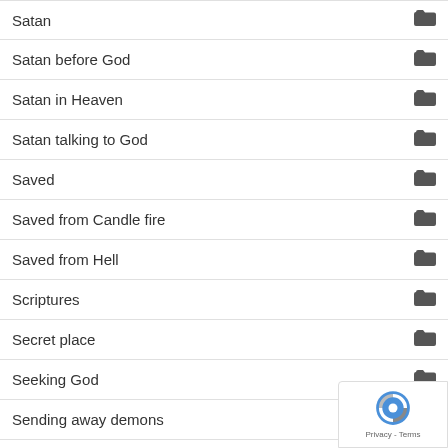Satan
Satan before God
Satan in Heaven
Satan talking to God
Saved
Saved from Candle fire
Saved from Hell
Scriptures
Secret place
Seeking God
Sending away demons
Serving God